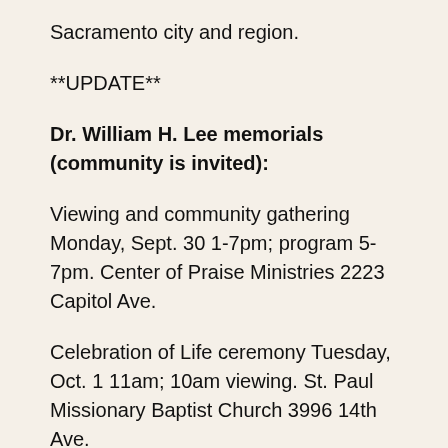Sacramento city and region.
**UPDATE**
Dr. William H. Lee memorials (community is invited):
Viewing and community gathering Monday, Sept. 30 1-7pm; program 5-7pm. Center of Praise Ministries 2223 Capitol Ave.
Celebration of Life ceremony Tuesday, Oct. 1 11am; 10am viewing. St. Paul Missionary Baptist Church 3996 14th Ave.